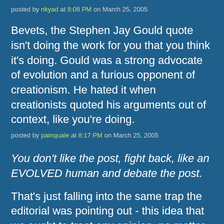posted by nkyad at 8:08 PM on March 25, 2005
Bevets, the Stephen Jay Gould quote isn't doing the work for you that you think it's doing. Gould was a strong advocate of evolution and a furious opponent of creationism. He hated it when creationists quoted his arguments out of context, like you're doing.
posted by painquale at 8:17 PM on March 25, 2005
You don't like the post, fight back, like an EVOLVED human and debate the post.
That's just falling into the same trap the editorial was pointing out - this idea that we ought to treat any opinion, no matter how ludicrous or unsupported, with equal weight. Just because there's mountains of evidence, no need to get fanatical! (but yes, it was a joke.)